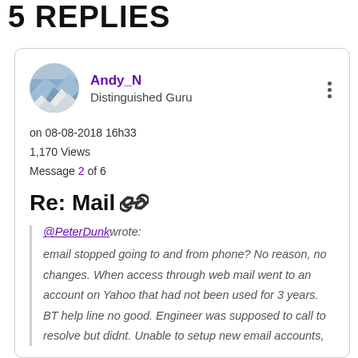5 REPLIES
Andy_N
Distinguished Guru
on 08-08-2018 16h33
1,170 Views
Message 2 of 6
Re: Mail 🔗
@PeterDunk wrote:
email stopped going to and from phone? No reason, no changes. When access through web mail went to an account on Yahoo that had not been used for 3 years. BT help line no good. Engineer was supposed to call to resolve but didnt. Unable to setup new email accounts,